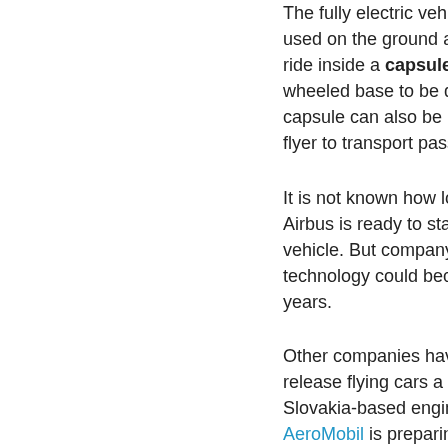The fully electric vehicle is designed to be used on the ground and in the air. Passengers ride inside a capsule that connects to a wheeled base to be driven on the street. The capsule can also be picked up by a drone-like flyer to transport passengers in the air.
It is not known how long it will take before Airbus is ready to start selling its Pop Up vehicle. But company officials said the technology could become a reality within 5-10 years.
Other companies have released plans to release flying cars a lot sooner than that. Slovakia-based engineering company AeroMobil is preparing to show the world its latest